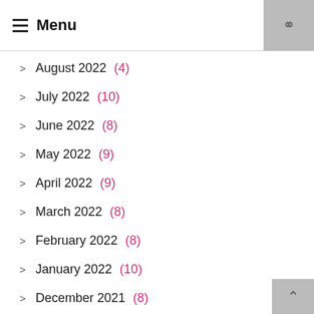Menu
August 2022 (4)
July 2022 (10)
June 2022 (8)
May 2022 (9)
April 2022 (9)
March 2022 (8)
February 2022 (8)
January 2022 (10)
December 2021 (8)
November 2021 (8)